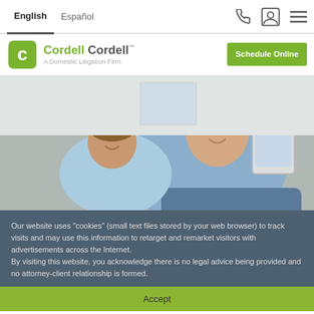English | Español
[Figure (logo): Cordell Cordell — A Domestic Litigation Firm logo with green speech bubble icon and Schedule Online button]
[Figure (photo): A father and young son sitting on a couch together, smiling and looking at a tablet device]
Our website uses "cookies" (small text files stored by your web browser) to track visits and may use this information to retarget and remarket visitors with advertisements across the Internet.
By visiting this website, you acknowledge there is no legal advice being provided and no attorney-client relationship is formed.
Accept